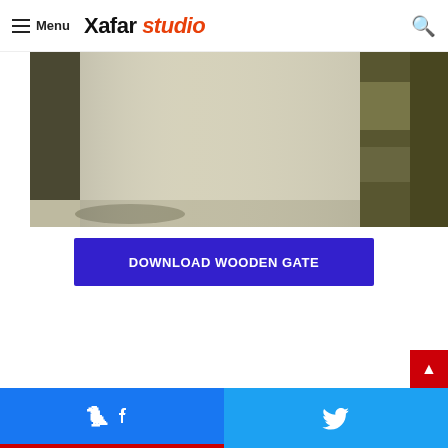Menu | Xafar studio
[Figure (photo): Blurred photo of a wooden gate/fence with dark vertical and horizontal wooden beams against a light background]
DOWNLOAD WOODEN GATE
Facebook share | Twitter share